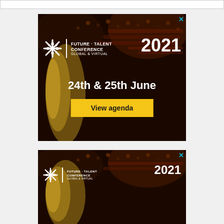[Figure (illustration): Future Talent Conference 2021 Global & Virtual advertisement banner. Dark background with crowd in theater. Shows logo, '24th & 25th June' date, and 'View agenda' yellow button.]
[Figure (illustration): Second Future Talent Conference 2021 Global & Virtual advertisement banner. Same design, partially visible, showing logo and conference name.]